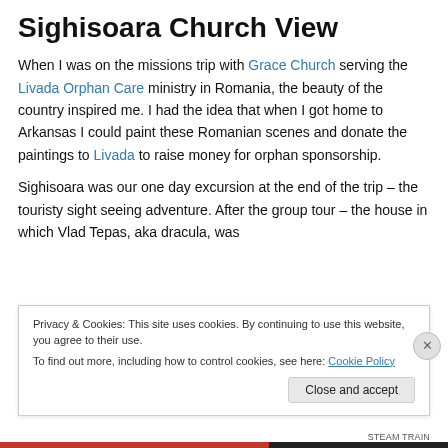Sighisoara Church View
When I was on the missions trip with Grace Church serving the Livada Orphan Care ministry in Romania, the beauty of the country inspired me. I had the idea that when I got home to Arkansas I could paint these Romanian scenes and donate the paintings to Livada to raise money for orphan sponsorship.
Sighisoara was our one day excursion at the end of the trip – the touristy sight seeing adventure. After the group tour – the house in which Vlad Tepas, aka dracula, was
Privacy & Cookies: This site uses cookies. By continuing to use this website, you agree to their use.
To find out more, including how to control cookies, see here: Cookie Policy
Close and accept